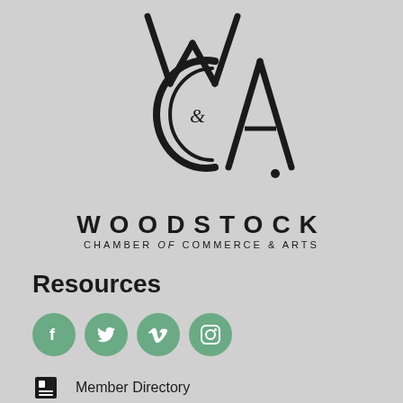[Figure (logo): Woodstock Chamber of Commerce & Arts logo — stylized WCA monogram with large C and A letters, ampersand symbol inside]
Resources
[Figure (infographic): Four green circular social media icons: Facebook, Twitter, Vimeo, Instagram]
Member Directory
Member Login